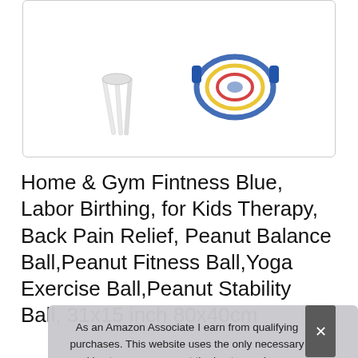[Figure (photo): Product image box showing fitness/yoga equipment accessories (pump needles and a blue resistance band/rope set) on white background, inside a rounded-border box.]
Home & Gym Fintness Blue, Labor Birthing, for Kids Therapy, Back Pain Relief, Peanut Balance Ball,Peanut Fitness Ball,Yoga Exercise Ball,Peanut Stability Ball, 31x15 inch 80x40cm
As an Amazon Associate I earn from qualifying purchases. This website uses the only necessary cookies to ensure you get the best experience on our website. More information